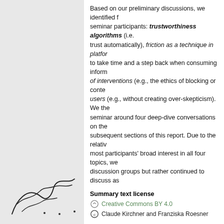Based on our preliminary discussions, we identified f... seminar participants: trustworthiness algorithms (i.e. trust automatically), friction as a technique in platfor... to take time and a step back when consuming infor... of interventions (e.g., the ethics of blocking or conte... users (e.g., without creating over-skepticism). We the... seminar around four deep-dive conversations on the... subsequent sections of this report. Due to the relativ... most participants' broad interest in all four topics, we... discussion groups but rather continued to discuss as...
Summary text license
Creative Commons BY 4.0
Claude Kirchner and Franziska Roesner
Classification
Artificial Intelligence / Robotics
Society / Human-computer Interaction
World Wide Web / Internet
Keywords
Disinformation
Fake news
Artificial intelligence